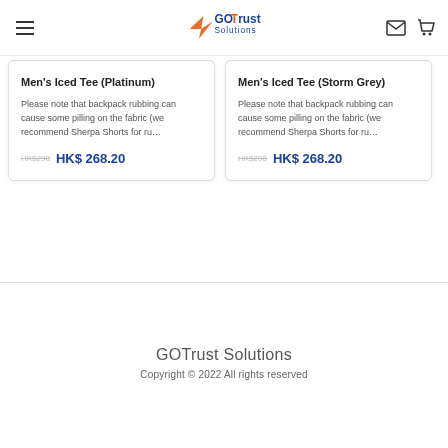GOTrust Solutions
Men's Iced Tee (Platinum)
Please note that backpack rubbing can cause some pilling on the fabric (we recommend Sherpa Shorts for ru...
HK$298  HK$ 268.20
Men's Iced Tee (Storm Grey)
Please note that backpack rubbing can cause some pilling on the fabric (we recommend Sherpa Shorts for ru...
HK$298  HK$ 268.20
GOTrust Solutions
Copyright © 2022 All rights reserved